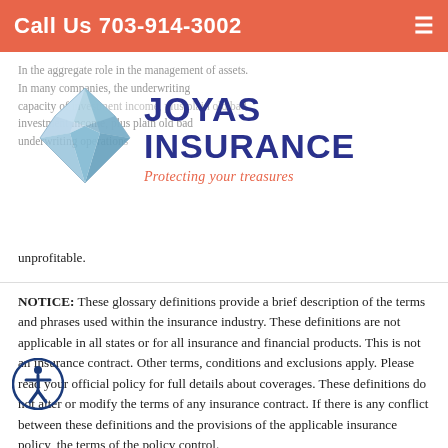Call Us 703-914-3002
[Figure (logo): Joyas Insurance logo with diamond gem icon and tagline 'Protecting your treasures']
unprofitable.
NOTICE: These glossary definitions provide a brief description of the terms and phrases used within the insurance industry. These definitions are not applicable in all states or for all insurance and financial products. This is not an insurance contract. Other terms, conditions and exclusions apply. Please read your official policy for full details about coverages. These definitions do not alter or modify the terms of any insurance contract. If there is any conflict between these definitions and the provisions of the applicable insurance policy, the terms of the policy control.